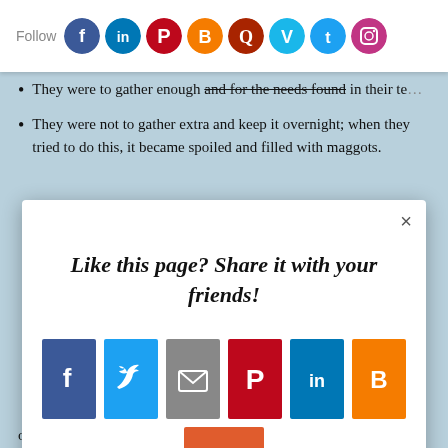Follow [social icons: Facebook, LinkedIn, Pinterest, Blogger, Quora, Vimeo, Twitter, Instagram]
They were to gather enough and for the needs found in their te...
They were not to gather extra and keep it overnight; when they tried to do this, it became spoiled and filled with maggots.
[Figure (screenshot): Social sharing modal popup with title 'Like this page? Share it with your friends!' and sharing buttons for Facebook, Twitter, Email, Pinterest, LinkedIn, Blogger, and a '+' AddThis button]
on the seventh day after He had created the heavens